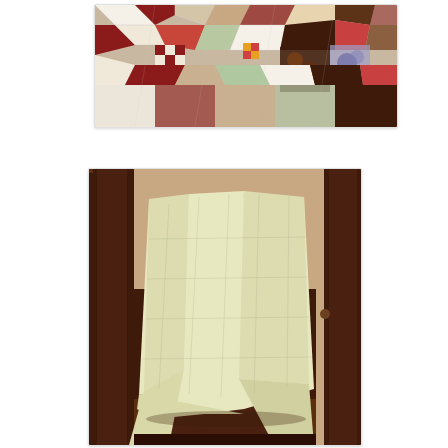[Figure (photo): Top view of a patchwork quilt laid flat, showing colorful fabric squares in patterns of red, cream, brown, green, and multicolored prints arranged in a diagonal/diamond layout.]
[Figure (photo): A pale yellow/cream colored quilt draped over a dark wooden chair, showing the plain backing or front side of the quilt with subtle quilting stitches visible. The chair is situated against a warm-toned wall with a dark wooden door frame visible in the background.]